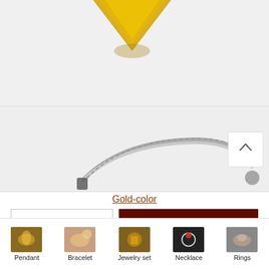[Figure (photo): Gold-colored pendant jewelry, triangular shape, partially visible at top on white background]
[Figure (photo): Silver chain bracelet/necklace on white background, partially visible in lower section of product image area]
Gold-color
— 1 +
ADD TO CART
[Figure (photo): Pendant category icon thumbnail]
Pendant
[Figure (photo): Bracelet category icon thumbnail]
Bracelet
[Figure (photo): Jewelry set category icon thumbnail]
Jewelry set
[Figure (photo): Necklace category icon thumbnail]
Necklace
[Figure (photo): Rings category icon thumbnail]
Rings